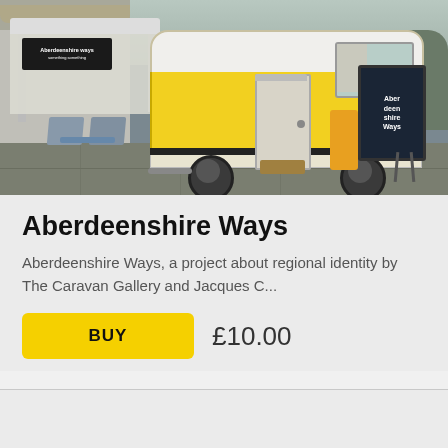[Figure (photo): Outdoor scene showing a yellow and white vintage caravan/trailer with an open door, a white gazebo/tent with an 'Aberdeenshire Ways' sign on the left, chairs and a table, and a dark chalkboard sign on the right reading 'Aberdeenshire Ways'. Scene set on a paved area with buildings in the background.]
Aberdeenshire Ways
Aberdeenshire Ways, a project about regional identity by The Caravan Gallery and Jacques C...
BUY  £10.00